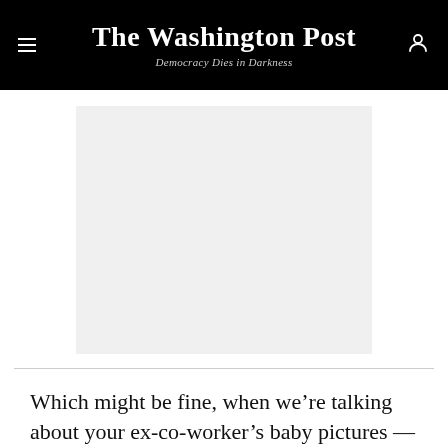The Washington Post
Democracy Dies in Darkness
[Figure (other): Advertisement placeholder — gray rectangle]
Which might be fine, when we’re talking about your ex-co-worker’s baby pictures — but what about if we’re talking about a political scandal?